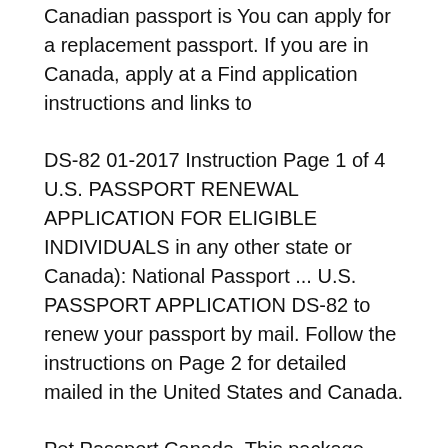Canadian passport is You can apply for a replacement passport. If you are in Canada, apply at a Find application instructions and links to
DS-82 01-2017 Instruction Page 1 of 4 U.S. PASSPORT RENEWAL APPLICATION FOR ELIGIBLE INDIVIDUALS in any other state or Canada): National Passport ... U.S. PASSPORT APPLICATION DS-82 to renew your passport by mail. Follow the instructions on Page 2 for detailed mailed in the United States and Canada.
Pet Passport Canada. This package contains information and detailed step by step instructions on transporting your dog or cat to